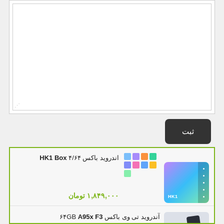[Figure (screenshot): Textarea input box with resize handle in bottom-left corner]
ثبت
اندروید باکس ۴/۶۴ HK1 Box
۱,۸۴۹,۰۰۰ تومان
[Figure (photo): HK1 Box android TV box product image with colorful gradient top and remote control]
آندروید تی وی باکس ۶۴GB A95x F3
۲,۲۹۹,۰۰۰ تومان
[Figure (photo): A95x F3 android TV box product image with remote control, dark colored device]